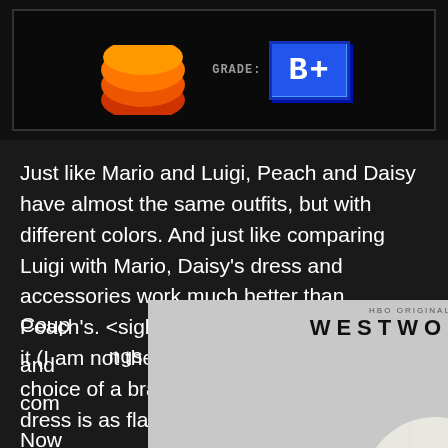[Figure (screenshot): Grade badge showing 'GRADE: B+' in pixel/8-bit style blue box, with orange shape on dark background]
Just like Mario and Luigi, Peach and Daisy have almost the same outfits, but with different colors. And just like comparing Luigi with Mario, Daisy's dress and accessories work much better than Peach's. <sigh> As much as I hate to admit it (I am not the biggest Daisy fan), her choice of a brave yellow and orange combo dress is as flattering as it is
Coup ngs and com
Now This
[Figure (screenshot): Westworld HBO Max advertisement overlay showing skull/robot hand imagery on left (grey background) and purple right panel with 'SEE THE BATTLE FOR THE FUTURE', 'HBO MAX', 'PLANS START AT $9.99/MONTH' text and a close (X) button]